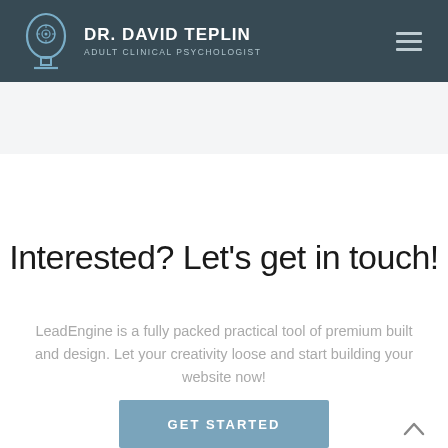DR. DAVID TEPLIN ADULT CLINICAL PSYCHOLOGIST
Interested? Let's get in touch!
LeadEngine is a fully packed practical tool of premium built and design. Let your creativity loose and start building your website now!
GET STARTED